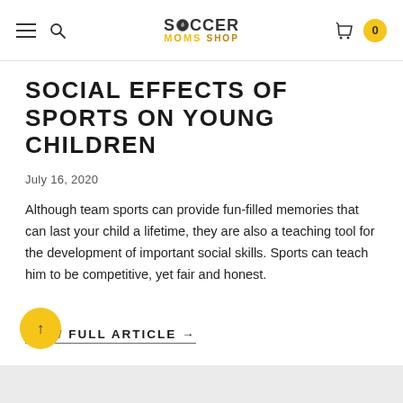Soccer Moms Shop — navigation bar with hamburger menu, search, logo, cart icon, cart badge 0
SOCIAL EFFECTS OF SPORTS ON YOUNG CHILDREN
July 16, 2020
Although team sports can provide fun-filled memories that can last your child a lifetime, they are also a teaching tool for the development of important social skills. Sports can teach him to be competitive, yet fair and honest.
VIEW FULL ARTICLE →